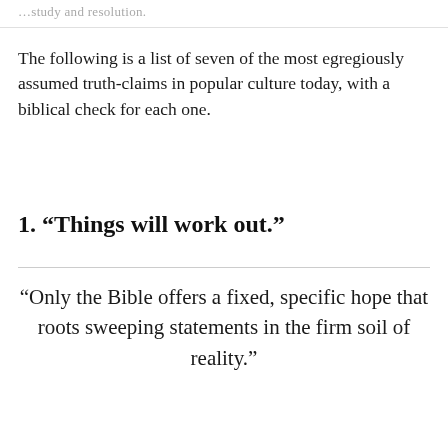…study and resolution.
The following is a list of seven of the most egregiously assumed truth-claims in popular culture today, with a biblical check for each one.
1. “Things will work out.”
“Only the Bible offers a fixed, specific hope that roots sweeping statements in the firm soil of reality.”